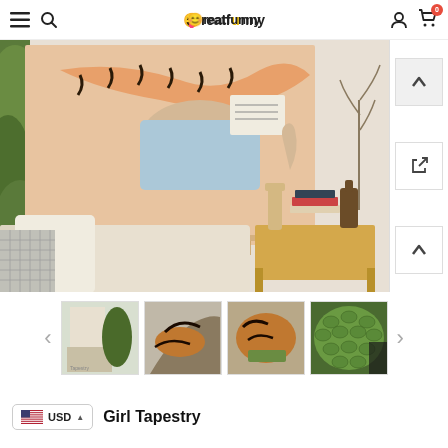Creatfunny — navigation bar with hamburger menu, search, logo, user account, and cart (0 items)
[Figure (photo): Room lifestyle photo showing a colorful tiger and girl tapestry hung on a white wall above a beige sofa with a side table holding books, a bottle, dried flowers, and a wooden hand sculpture.]
[Figure (photo): Thumbnail 1: Tapestry displayed on a wall in a minimalist room setting]
[Figure (photo): Thumbnail 2: Close-up of tiger and girl tapestry laid flat]
[Figure (photo): Thumbnail 3: Another angle of tiger and girl tapestry]
[Figure (photo): Thumbnail 4: Close-up texture detail of the tapestry (green snake skin pattern visible)]
USD
Girl Tapestry